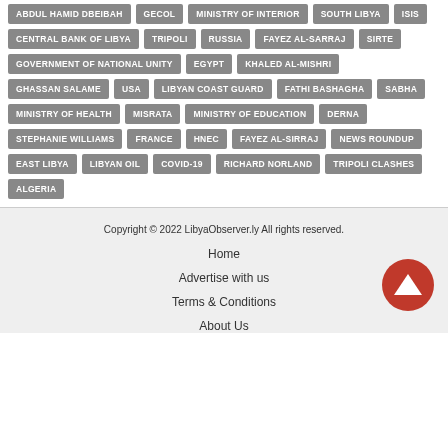ABDUL HAMID DBEIBAH
GECOL
MINISTRY OF INTERIOR
SOUTH LIBYA
ISIS
CENTRAL BANK OF LIBYA
TRIPOLI
RUSSIA
FAYEZ AL-SARRAJ
SIRTE
GOVERNMENT OF NATIONAL UNITY
EGYPT
KHALED AL-MISHRI
GHASSAN SALAME
USA
LIBYAN COAST GUARD
FATHI BASHAGHA
SABHA
MINISTRY OF HEALTH
MISRATA
MINISTRY OF EDUCATION
DERNA
STEPHANIE WILLIAMS
FRANCE
HNEC
FAYEZ AL-SIRRAJ
NEWS ROUNDUP
EAST LIBYA
LIBYAN OIL
COVID-19
RICHARD NORLAND
TRIPOLI CLASHES
ALGERIA
Copyright © 2022 LibyaObserver.ly All rights reserved.
Home
Advertise with us
Terms & Conditions
About Us